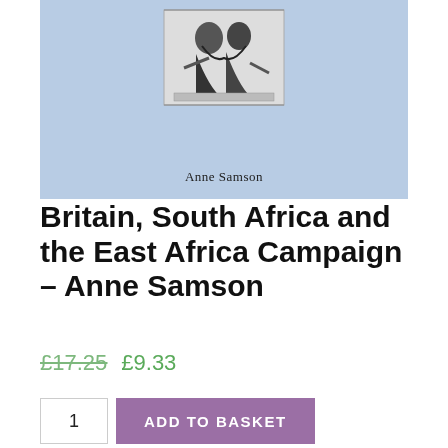[Figure (illustration): Book cover with light blue background showing a dark ink illustration of figures, with author name 'Anne Samson' below the image]
Britain, South Africa and the East Africa Campaign – Anne Samson
£17.25  £9.33
1  ADD TO BASKET